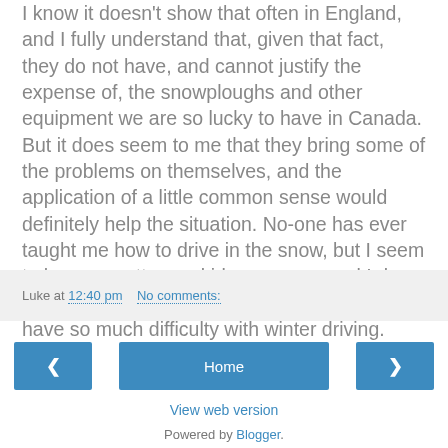I know it doesn't show that often in England, and I fully understand that, given that fact, they do not have, and cannot justify the expense of, the snowploughs and other equipment we are so lucky to have in Canada. But it does seem to me that they bring some of the problems on themselves, and the application of a little common sense would definitely help the situation. No-one has ever taught me how to drive in the snow, but I seem to have a pretty good idea anyway, and I do wonder why the average Englishman should have so much difficulty with winter driving.
Luke at 12:40 pm   No comments:
Home
View web version
Powered by Blogger.